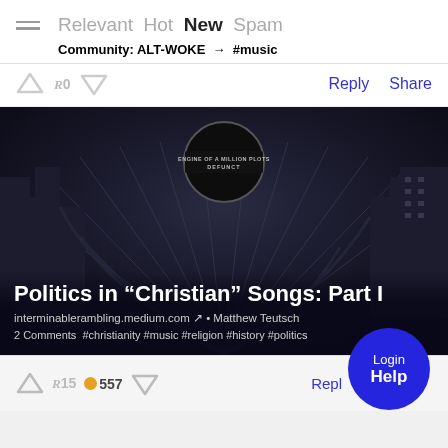Relevant Hot New Spam — Community: ALT-WOKE → #music
↑ R0 ↓   Reply  Share
[Figure (photo): Black and white sketchy illustration of a cityscape with buildings, used as background for an article card. A vinyl record label at the top reads ENGINE OF A MILLION PLOTS / DEFUNCT. Article title overlay reads: Politics in "Christian" Songs: Part I. Below: interminablerambling.medium.com ↗ • Matthew Teutsch. 2 Comments #christianity #music #religion #history #politics]
↑ R15 🟠 557 ↓   Reply   Share